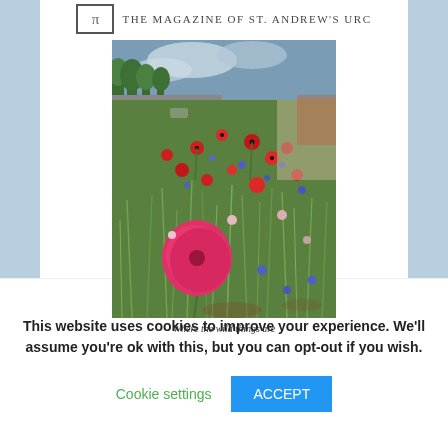THE MAGAZINE OF ST. ANDREW'S URC
[Figure (photo): A photograph of wildflowers including red poppies and blue flowers growing in a grassy roadside verge, with trees and road visible in the background.]
Where the wild things are
This website uses cookies to improve your experience. We'll assume you're ok with this, but you can opt-out if you wish.
Cookie settings   ACCEPT